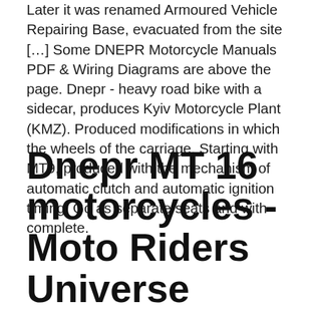Later it was renamed Armoured Vehicle Repairing Base, evacuated from the site […] Some DNEPR Motorcycle Manuals PDF & Wiring Diagrams are above the page. Dnepr - heavy road bike with a sidecar, produces Kyiv Motorcycle Plant (KMZ). Produced modifications in which the wheels of the carriage. Starting with MT9, produced with the mechanism of automatic clutch and automatic ignition timing. Go as separate seats and with complete.
Dnepr MT 16 motorcycles - Moto Riders Universe